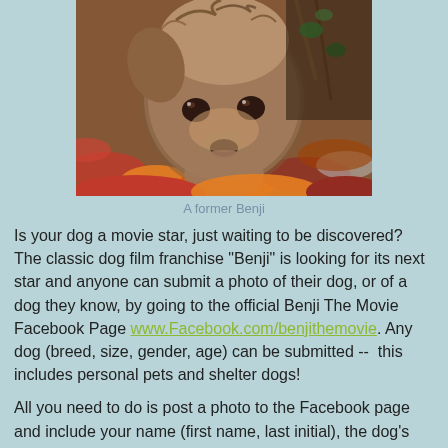[Figure (photo): Close-up photo of a shaggy brown dog (resembling Benji) lying in autumn leaves, looking directly at the camera.]
A former Benji
Is your dog a movie star, just waiting to be discovered? The classic dog film franchise "Benji" is looking for its next star and anyone can submit a photo of their dog, or of a dog they know, by going to the official Benji The Movie Facebook Page www.Facebook.com/benjithemovie. Any dog (breed, size, gender, age) can be submitted --  this includes personal pets and shelter dogs!
All you need to do is post a photo to the Facebook page and include your name (first name, last initial), the dog's name, and the dog's location (city, state, country). You'll find the official guidelines for entering on the Facebook page